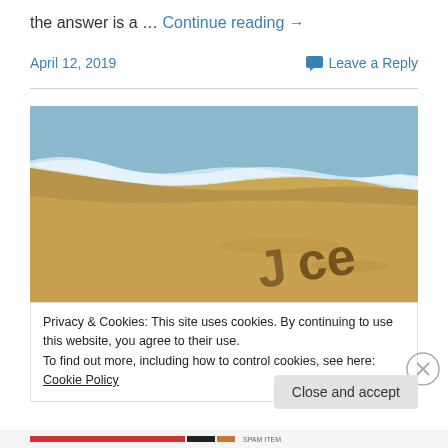the answer is a … Continue reading →
April 12, 2019    Leave a Reply
[Figure (photo): Beach photo showing ocean waves washing onto sandy shore with letters written in the sand]
Privacy & Cookies: This site uses cookies. By continuing to use this website, you agree to their use.
To find out more, including how to control cookies, see here: Cookie Policy
Close and accept